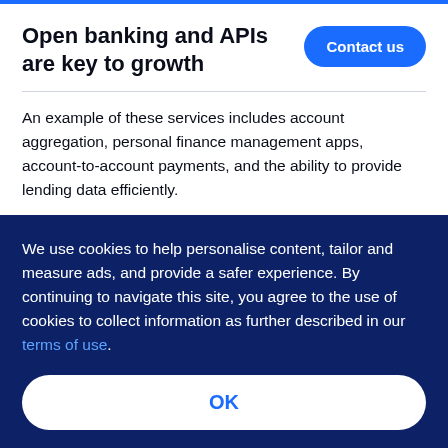Open banking and APIs are key to growth
An example of these services includes account aggregation, personal finance management apps, account-to-account payments, and the ability to provide lending data efficiently.
This has occurred largely because API strategies
We use cookies to help personalise content, tailor and measure ads, and provide a safer experience. By continuing to navigate this site, you agree to the use of cookies to collect information as further described in our terms of use.
OK